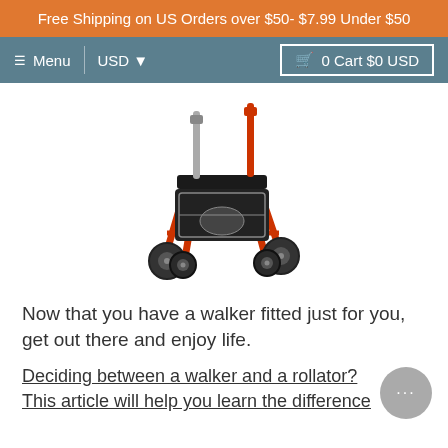Free Shipping on US Orders over $50- $7.99 Under $50
≡ Menu  |  USD ▾    🛒 0 Cart $0 USD
[Figure (photo): A red four-wheeled rollator walker with black bag/seat and adjustable handles]
Now that you have a walker fitted just for you, get out there and enjoy life.
Deciding between a walker and a rollator? This article will help you learn the difference